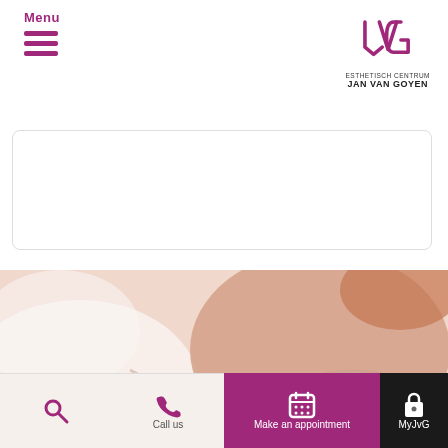Menu | Esthetisch Centrum Jan Van Goyen
[Figure (screenshot): Empty search/content box with rounded corners]
[Figure (photo): Medical aesthetic procedure photo showing a doctor's gloved hand examining or treating a patient's shoulder/arm area, soft warm tones]
Call us
Make an appointment
MyJvG